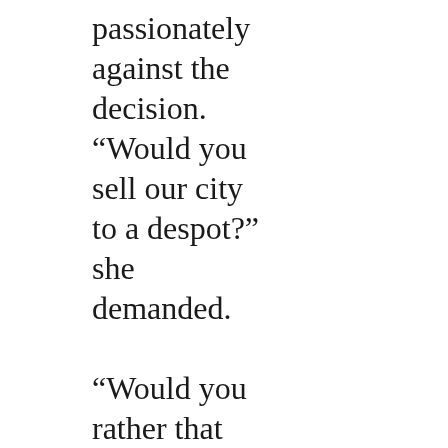passionately against the decision. “Would you sell our city to a despot?” she demanded.

“Would you rather that everyone perished instead?” the head magician